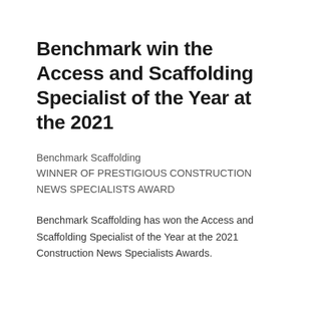Benchmark win the Access and Scaffolding Specialist of the Year at the 2021
Benchmark Scaffolding
WINNER OF PRESTIGIOUS CONSTRUCTION NEWS SPECIALISTS AWARD
Benchmark Scaffolding has won the Access and Scaffolding Specialist of the Year at the 2021 Construction News Specialists Awards.